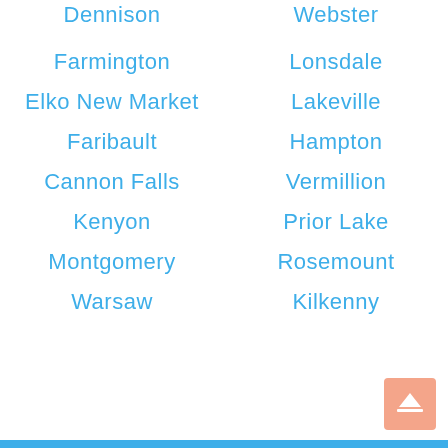Dennison
Webster
Farmington
Lonsdale
Elko New Market
Lakeville
Faribault
Hampton
Cannon Falls
Vermillion
Kenyon
Prior Lake
Montgomery
Rosemount
Warsaw
Kilkenny